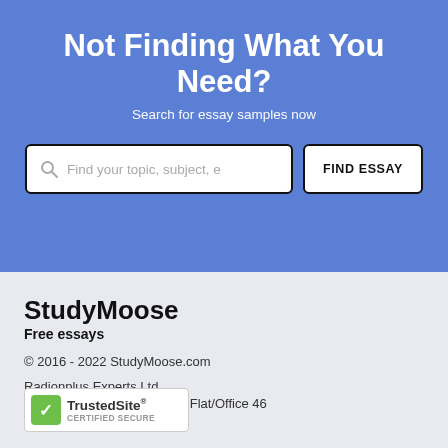Not Finding What You Need?
Search for essay samples now
[Figure (screenshot): Search input box with placeholder text 'Find your topic, subject, e' and a FIND ESSAY button]
StudyMoose
Free essays
© 2016 - 2022 StudyMoose.com
Radionplus Experts Ltd
L... ellapais Court, Flat/Office 46
1 ...orus
[Figure (logo): TrustedSite CERTIFIED SECURE badge with green checkmark]